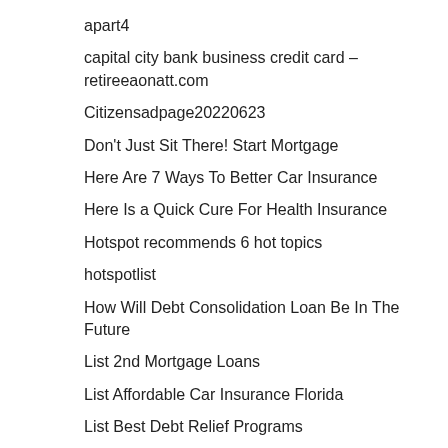apart4
capital city bank business credit card – retireeaonatt.com
Citizensadpage20220623
Don't Just Sit There! Start Mortgage
Here Are 7 Ways To Better Car Insurance
Here Is a Quick Cure For Health Insurance
Hotspot recommends 6 hot topics
hotspotlist
How Will Debt Consolidation Loan Be In The Future
List 2nd Mortgage Loans
List Affordable Car Insurance Florida
List Best Debt Relief Programs
List Car Insurance Companies
List Compare Mortgages Rates
list Need Car Insurance Quotes